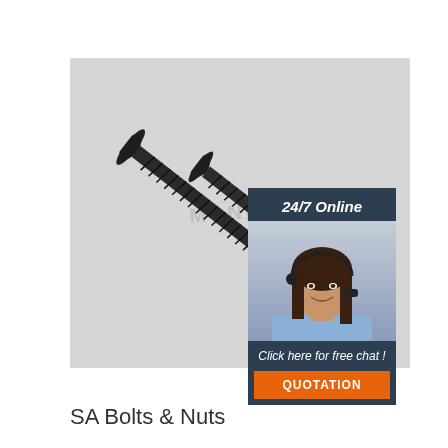[Figure (photo): Two black drywall/wood screws with bugle heads and coarse threading, photographed diagonally on a light grey brushed surface background. A watermark 'MONGON' is faintly visible in the center. In the upper right corner, an overlaid customer service panel shows a woman wearing a headset with '24/7 Online' text above her photo, and 'Click here for free chat!' text with an orange 'QUOTATION' button below.]
SA Bolts & Nuts